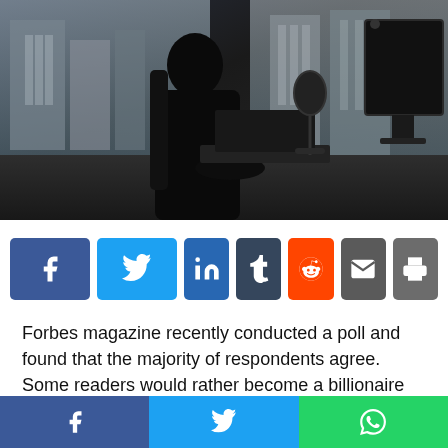[Figure (photo): Silhouette of a person sitting at a desk working at a computer in a dark office environment with city buildings visible through windows in the background. A microphone, laptop, monitor and other desk equipment are visible.]
[Figure (infographic): Row of social media share buttons: Facebook (blue), Twitter (light blue), LinkedIn (dark blue), Tumblr (dark navy), Reddit (orange), Email (dark grey), Print (grey)]
Forbes magazine recently conducted a poll and found that the majority of respondents agree. Some readers would rather become a billionaire than be an author.
[Figure (infographic): Bottom sticky share bar with three buttons: Facebook (blue), Twitter (light blue), WhatsApp (green)]